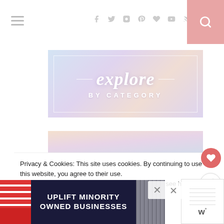Navigation bar with hamburger menu, social icons (facebook, twitter, instagram, pinterest, heart, youtube, rss), and search button
[Figure (illustration): Explore by category banner with script 'explore' text and 'BY CATEGORY' subtitle on a soft pastel gradient background with white border]
[Figure (photo): Photo of woman in bathroom/dressing area, partially visible]
Privacy & Cookies: This site uses cookies. By continuing to use this website, you agree to their use.
To find out more, including how to control cookies, see here: Privacy Policy
[Figure (screenshot): Advertisement banner: UPLIFT MINORITY OWNED BUSINESSES on dark navy background with red striped storefront graphic]
[Figure (screenshot): Right-side panel with wordmark logo (w°) and grid pattern]